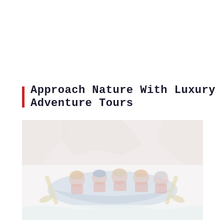Approach Nature With Luxury Adventure Tours
[Figure (photo): A faded/washed-out photo of a group of people white-water rafting in a blue inflatable raft, wearing helmets and life jackets, paddling through rapids with rocky canyon walls in the background.]